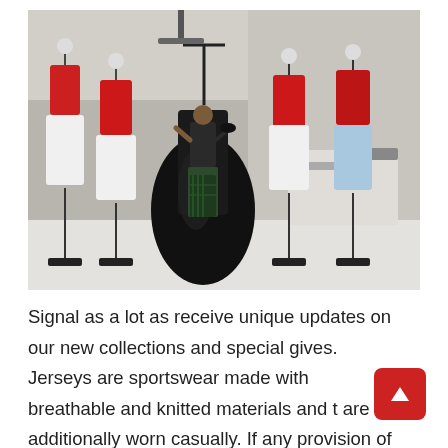[Figure (photo): A fashion designer or student adjusting a large black gown on a dress form in a studio/atelier. Multiple white dress mannequins surround her displaying red and light blue garments. Sewing machines and worktables are visible in the background.]
Signal as a lot as receive unique updates on our new collections and special gives. Jerseys are sportswear made with breathable and knitted materials and t are additionally worn casually. If any provision of those